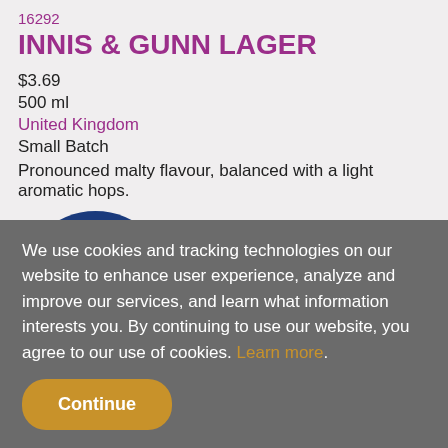16292
INNIS & GUNN LAGER
$3.69
500 ml
United Kingdom
Small Batch
Pronounced malty flavour, balanced with a light aromatic hops.
[Figure (illustration): Blue circular Shop Online button with cursor icon]
We use cookies and tracking technologies on our website to enhance user experience, analyze and improve our services, and learn what information interests you. By continuing to use our website, you agree to our use of cookies. Learn more.
Continue